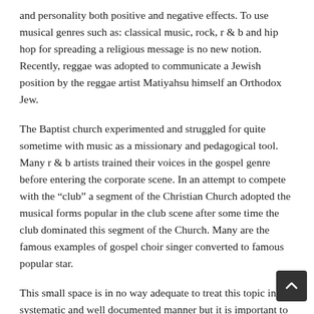and personality both positive and negative effects. To use musical genres such as: classical music, rock, r & b and hip hop for spreading a religious message is no new notion. Recently, reggae was adopted to communicate a Jewish position by the reggae artist Matiyahsu himself an Orthodox Jew.
The Baptist church experimented and struggled for quite sometime with music as a missionary and pedagogical tool. Many r & b artists trained their voices in the gospel genre before entering the corporate scene. In an attempt to compete with the “club” a segment of the Christian Church adopted the musical forms popular in the club scene after some time the club dominated this segment of the Church. Many are the famous examples of gospel choir singer converted to famous popular star.
This small space is in no way adequate to treat this topic in a systematic and well documented manner but it is important to keep ask are we claiming to be